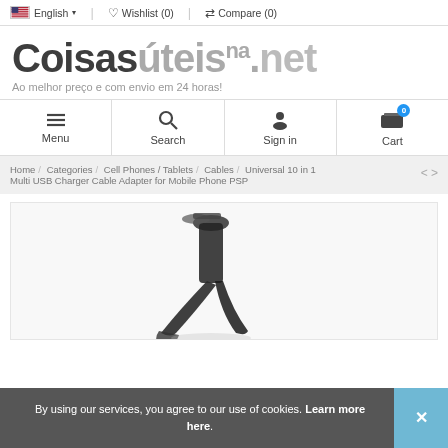🇺🇸 English ∨  ♡ Wishlist (0)  ⇔ Compare (0)
Coisasúteis.net – Ao melhor preço e com envio em 24 horas!
Menu | Search | Sign in | Cart (0)
Home / Categories / Cell Phones / Tablets / Cables / Universal 10 in 1 Multi USB Charger Cable Adapter for Mobile Phone PSP
[Figure (photo): Product photo of a multi USB charger cable adapter, showing a dark cable with a USB connector against a white background.]
By using our services, you agree to our use of cookies. Learn more here.